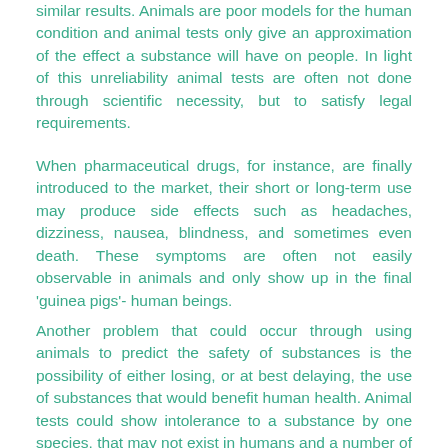similar results. Animals are poor models for the human condition and animal tests only give an approximation of the effect a substance will have on people. In light of this unreliability animal tests are often not done through scientific necessity, but to satisfy legal requirements.
When pharmaceutical drugs, for instance, are finally introduced to the market, their short or long-term use may produce side effects such as headaches, dizziness, nausea, blindness, and sometimes even death. These symptoms are often not easily observable in animals and only show up in the final 'guinea pigs'- human beings.
Another problem that could occur through using animals to predict the safety of substances is the possibility of either losing, or at best delaying, the use of substances that would benefit human health. Animal tests could show intolerance to a substance by one species, that may not exist in humans and a number of examples of this type of